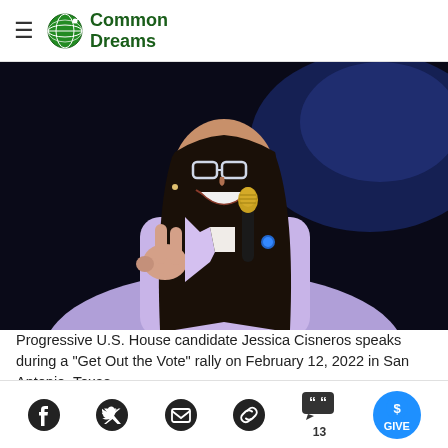Common Dreams
[Figure (photo): Progressive U.S. House candidate Jessica Cisneros speaking into a microphone at a rally, making a peace sign with her hand, wearing a lavender blazer, glasses, smiling broadly against a dark background.]
Progressive U.S. House candidate Jessica Cisneros speaks during a "Get Out the Vote" rally on February 12, 2022 in San Antonio, Texas.
Social sharing icons: Facebook, Twitter, Email, Link, Comments (13), Give